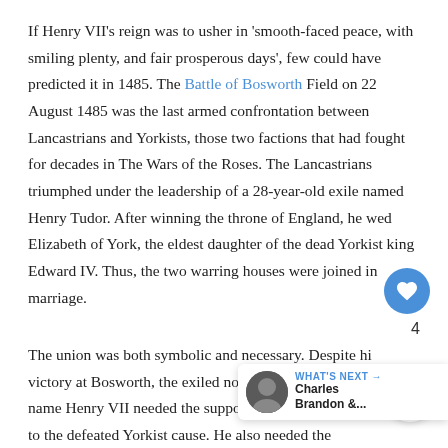If Henry VII's reign was to usher in 'smooth-faced peace, with smiling plenty, and fair prosperous days', few could have predicted it in 1485. The Battle of Bosworth Field on 22 August 1485 was the last armed confrontation between Lancastrians and Yorkists, those two factions that had fought for decades in The Wars of the Roses. The Lancastrians triumphed under the leadership of a 28-year-old exile named Henry Tudor. After winning the throne of England, he wed Elizabeth of York, the eldest daughter of the dead Yorkist king Edward IV. Thus, the two warring houses were joined in marriage.
The union was both symbolic and necessary. Despite his victory at Bosworth, the exiled nobleman who took the name Henry VII needed the support of those loyal to the defeated Yorkist cause. He also needed the legitimacy of his wife's claim to the throne. He also needed the